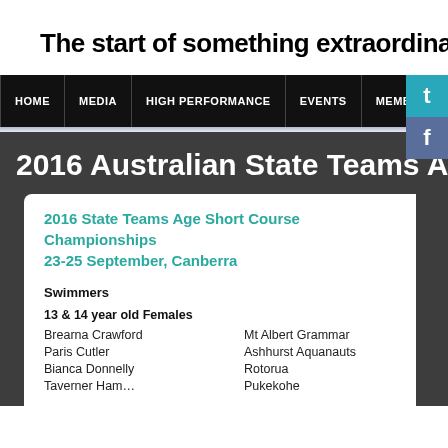The start of something extraordinary
HOME | MEDIA | HIGH PERFORMANCE | EVENTS | MEMBER RE…
2016 Australian State Teams Age Short Co…
2016 State Teams Age Short Course Championships
23-25 September, Canberra
Swimmers
13 & 14 year old Females
Brearna Crawford    Mt Albert Grammar
Paris Cutler    Ashhurst Aquanauts
Bianca Donnelly    Rotorua
Taverner Ham…    Pukekohe